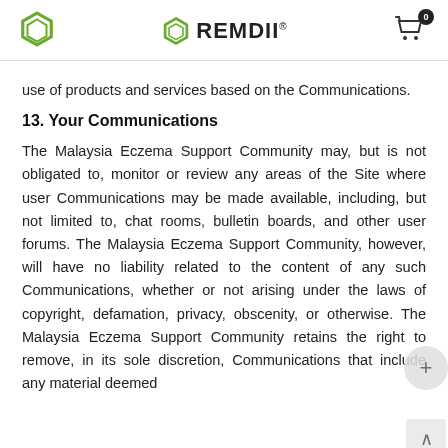REMDII
use of products and services based on the Communications.
13. Your Communications
The Malaysia Eczema Support Community may, but is not obligated to, monitor or review any areas of the Site where user Communications may be made available, including, but not limited to, chat rooms, bulletin boards, and other user forums. The Malaysia Eczema Support Community, however, will have no liability related to the content of any such Communications, whether or not arising under the laws of copyright, defamation, privacy, obscenity, or otherwise. The Malaysia Eczema Support Community retains the right to remove, in its sole discretion, Communications that include any material deemed